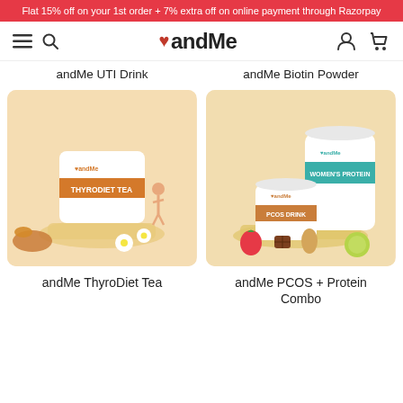Flat 15% off on your 1st order + 7% extra off on online payment through Razorpay
[Figure (screenshot): andMe website navigation bar with hamburger menu, search icon, andMe logo with heart icon, user profile icon, and shopping cart icon]
andMe UTI Drink
andMe Biotin Powder
[Figure (photo): andMe ThyroDiet Tea product package on peach/orange background with ginger and daisy flower decoration]
[Figure (photo): andMe PCOS Drink and Women's Protein containers on peach/orange background with strawberry and lime decoration]
andMe ThyroDiet Tea
andMe PCOS + Protein Combo